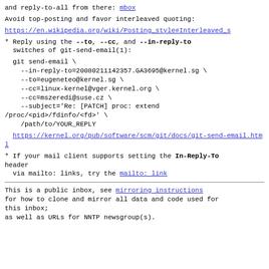and reply-to-all from there: mbox
Avoid top-posting and favor interleaved quoting:
https://en.wikipedia.org/wiki/Posting_style#Interleaved_s
* Reply using the --to, --cc, and --in-reply-to switches of git-send-email(1):
git send-email \
    --in-reply-to=20080211142357.GA3695@kernel.sg \
    --to=eugeneteo@kernel.sg \
    --cc=linux-kernel@vger.kernel.org \
    --cc=mszeredi@suse.cz \
    --subject='Re: [PATCH] proc: extend /proc/<pid>/fdinfo/<fd>' \
    /path/to/YOUR_REPLY
https://kernel.org/pub/software/scm/git/docs/git-send-email.html
* If your mail client supports setting the In-Reply-To header
  via mailto: links, try the mailto: link
This is a public inbox, see mirroring instructions
for how to clone and mirror all data and code used for this inbox;
as well as URLs for NNTP newsgroup(s).